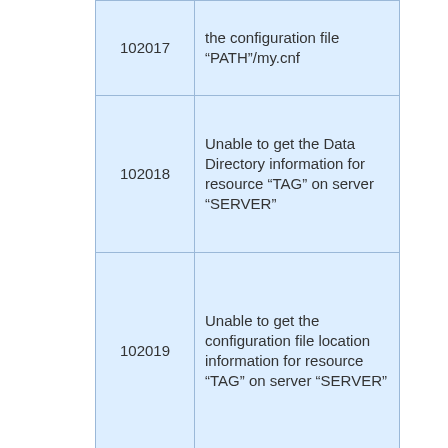| Code | Message |
| --- | --- |
| 102017 | the configuration file “PATH”/my.cnf |
| 102018 | Unable to get the Data Directory information for resource “TAG” on server “SERVER” |
| 102019 | Unable to get the configuration file location information for resource “TAG” on server “SERVER” |
| 102020 | Unable to get the executable location information for |